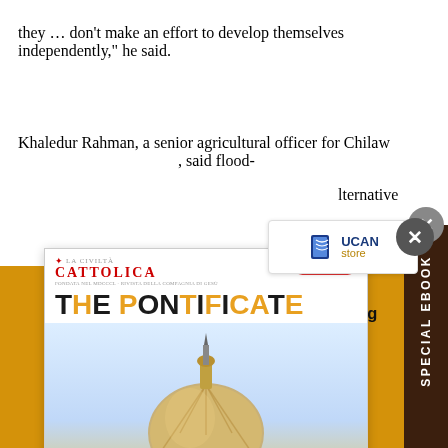they … don't make an effort to develop themselves independently," he said.
Khaledur Rahman, a senior agricultural officer for Chilaw district of Kurin..., said flood-[ed farms need] alternative [...] of [...] water this [season] [...] flood-
[Figure (screenshot): UCA Store logo badge with book icon]
[Figure (infographic): La Civilta Cattolica special ebook popup card for 'THE PONTIFICATE' with orange branding, St Peter's Basilica dome image, and eBook badge. Overlaid by a vertical 'SPECIAL EBOOK' sidebar label on dark brown background with X close button.]
Your small contribution can make a big difference. Support UCA News.
DONATE NOW